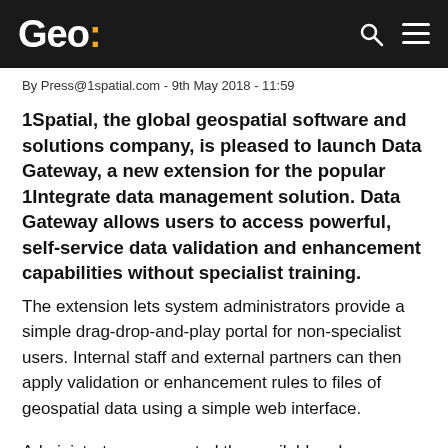Geo:
By Press@1spatial.com - 9th May 2018 - 11:59
1Spatial, the global geospatial software and solutions company, is pleased to launch Data Gateway, a new extension for the popular 1Integrate data management solution. Data Gateway allows users to access powerful, self-service data validation and enhancement capabilities without specialist training. The extension lets system administrators provide a simple drag-drop-and-play portal for non-specialist users. Internal staff and external partners can then apply validation or enhancement rules to files of geospatial data using a simple web interface.
Administrators can control the available rules on a project or